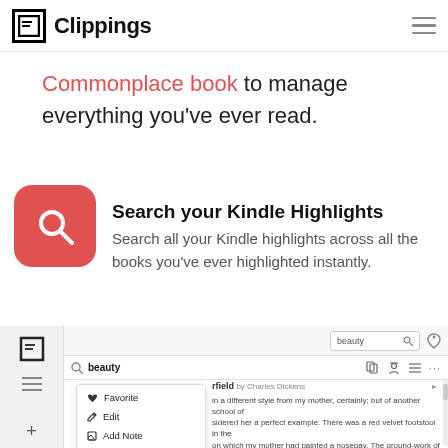Clippings
Commonplace book to manage everything you've ever read.
Search your Kindle Highlights
Search all your Kindle highlights across all the books you've ever highlighted instantly.
[Figure (screenshot): App screenshot showing a search interface with 'beauty' query, a context menu with Favorite, Edit, Add Note, Delete options, and a book highlight from Charles Dickens.]